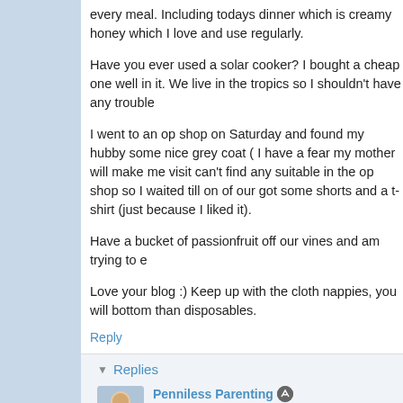every meal. Including todays dinner which is creamy honey which I love and use regularly.
Have you ever used a solar cooker? I bought a cheap one well in it. We live in the tropics so I shouldn't have any trouble
I went to an op shop on Saturday and found my hubby some nice grey coat ( I have a fear my mother will make me visit can't find any suitable in the op shop so I waited till on of our got some shorts and a t-shirt (just because I liked it).
Have a bucket of passionfruit off our vines and am trying to e
Love your blog :) Keep up with the cloth nappies, you will bottom than disposables.
Reply
Replies
Penniless Parenting   May 14, 2014 at 8:34 AM
Bibimbap is a mixed Korean rice, veggie, and often
I love broccoli- so cool that you can have it every m things using less heat?
I had a solar cooker- two actually. In my old apa